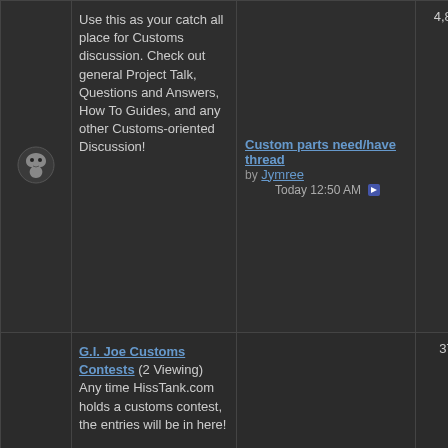| Icon | Forum | Last Post | Threads | Posts |
| --- | --- | --- | --- | --- |
| [cobra icon] | Use this as your catch all place for Customs discussion. Check out general Project Talk, Questions and Answers, How To Guides, and any other Customs-oriented Discussion! | Custom parts need/have thread by Jymree Today 12:50 AM | 4,806 | 68,760 |
| [cobra icon] | G.I. Joe Customs Contests (2 Viewing) Any time HissTank.com holds a customs contest, the entries will be in here! | Contest? by Chucez 08-03-2022 03:40 PM | 376 | 13,610 |